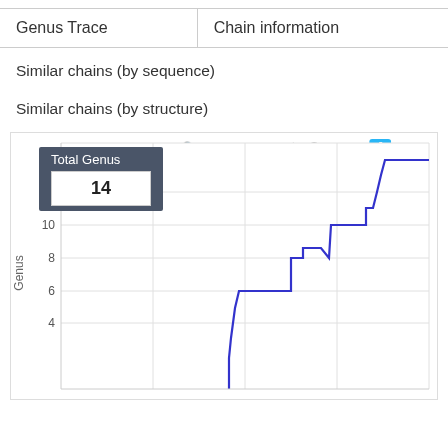| Genus Trace | Chain information |
| --- | --- |
Similar chains (by sequence)
Similar chains (by structure)
[Figure (line-chart): Step chart showing cumulative genus count increasing from ~4 at mid-x to 14 at far right. Tooltip shows Total Genus = 14.]